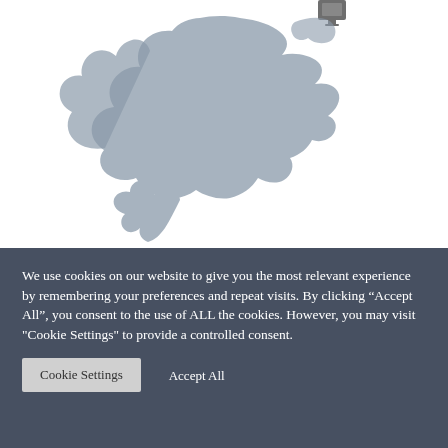[Figure (map): Greyed-out map of North America and part of Central America, with a small device/icon visible in the top-right corner of the image area.]
We use cookies on our website to give you the most relevant experience by remembering your preferences and repeat visits. By clicking “Accept All”, you consent to the use of ALL the cookies. However, you may visit "Cookie Settings" to provide a controlled consent.
Cookie Settings
Accept All